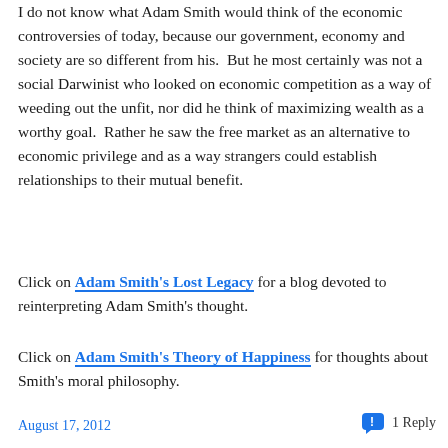I do not know what Adam Smith would think of the economic controversies of today, because our government, economy and society are so different from his.  But he most certainly was not a social Darwinist who looked on economic competition as a way of weeding out the unfit, nor did he think of maximizing wealth as a worthy goal.  Rather he saw the free market as an alternative to economic privilege and as a way strangers could establish relationships to their mutual benefit.
Click on Adam Smith's Lost Legacy for a blog devoted to reinterpreting Adam Smith's thought.
Click on Adam Smith's Theory of Happiness for thoughts about Smith's moral philosophy.
August 17, 2012    1 Reply